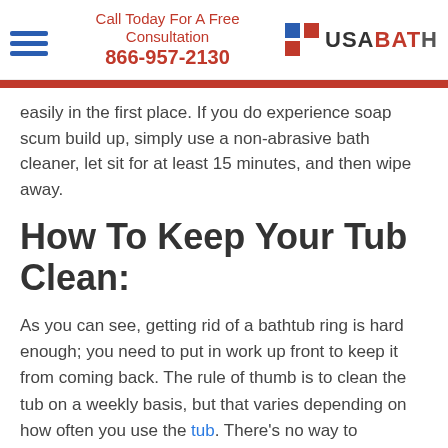Call Today For A Free Consultation 866-957-2130 USA BATH
easily in the first place. If you do experience soap scum build up, simply use a non-abrasive bath cleaner, let sit for at least 15 minutes, and then wipe away.
How To Keep Your Tub Clean:
As you can see, getting rid of a bathtub ring is hard enough; you need to put in work up front to keep it from coming back. The rule of thumb is to clean the tub on a weekly basis, but that varies depending on how often you use the tub. There's no way to guarantee that the ring won't eventually return, but at the very least, you can hold it at bay.